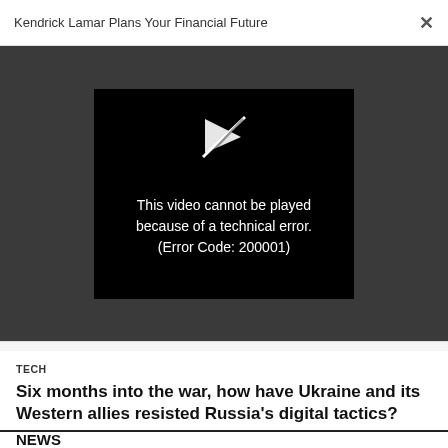Kendrick Lamar Plans Your Financial Future
[Figure (screenshot): Video player showing error: This video cannot be played because of a technical error. (Error Code: 200001) with a broken play button icon on dark background]
TECH
Six months into the war, how have Ukraine and its Western allies resisted Russia's digital tactics?
[Figure (infographic): Advertisement banner: CALL FOR ENTRIES - DEADLINE: SEPTEMBER 23 - Most Innovative Companies]